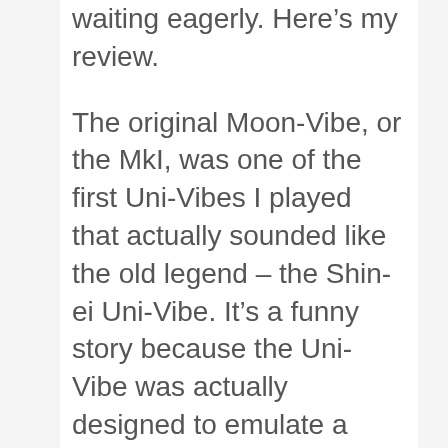waiting eagerly. Here’s my review. The original Moon-Vibe, or the MkI, was one of the first Uni-Vibes I played that actually sounded like the old legend – the Shin-ei Uni-Vibe. It’s a funny story because the Uni-Vibe was actually designed to emulate a rotating speaker cabinet but it doesn’t sound anything like it. The original circuit was also very noisy and unreliable. It had a magical tone though, and the Moon-